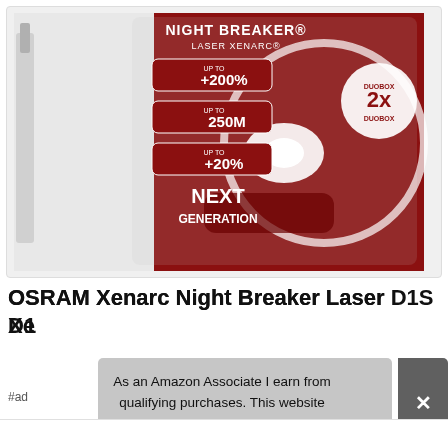[Figure (photo): OSRAM Night Breaker Laser Xenarc product box (Duo Box, 2x) showing +200% brightness, 250M range, +20% whiter light, Next Generation, red car background]
OSRAM Xenarc Night Breaker Laser D1S Xenon Car Headlight Bulbs Twin
#ad
As an Amazon Associate I earn from qualifying purchases. This website uses the only necessary cookies to ensure you get the best experience on our website. More information